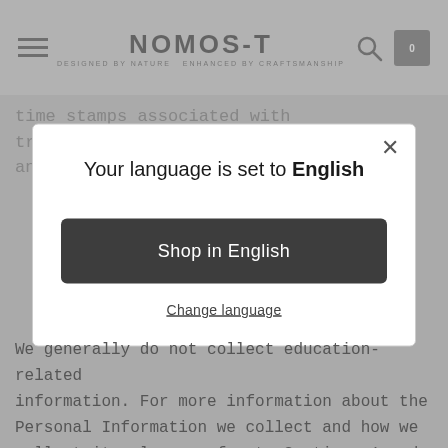NOMOS-T — DESIGNED BY NATURE ENHANCED BY CRAFTSMANSHIP
time stamps associated with transactions, and system configuration information:
[Figure (screenshot): Language selection modal dialog on a Nomos-T e-commerce website. Modal contains the text 'Your language is set to English', a dark button 'Shop in English', and an underlined link 'Change language'. A close (×) button appears in the top right of the modal.]
We generally do not collect education-related information. For more information about the Personal Information we collect and how we collect it, please refer to Sections 1 and 2, above.